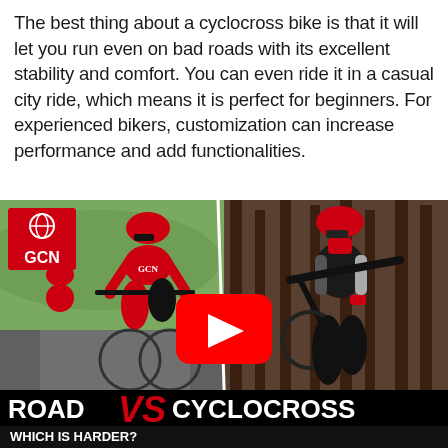The best thing about a cyclocross bike is that it will let you run even on bad roads with its excellent stability and comfort. You can even ride it in a casual city ride, which means it is perfect for beginners. For experienced bikers, customization can increase performance and add functionalities.
[Figure (screenshot): YouTube video thumbnail from GCN (Global Cycling Network) showing a split image: left side features cyclists in red GCN kits riding on a road, right side shows a cyclist in black carrying a cyclocross bike in a forest. A red YouTube play button is centered. Bottom overlay reads 'ROAD VS CYCLOCROSS' with 'WHICH IS HARDER?' subtitle.]